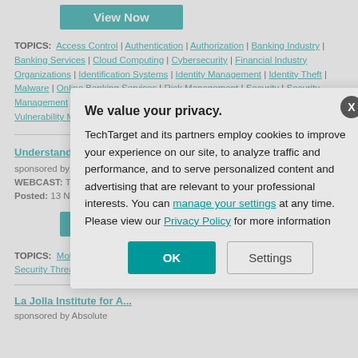[Figure (other): View Now button (teal/green background, white text) at top of page]
TOPICS: Access Control | Authentication | Authorization | Banking Industry | Banking Services | Cloud Computing | Cybersecurity | Financial Industry Organizations | Identification Systems | Identity Management | Identity Theft | Malware | Online Banking Services | Risk Management | Security | Security Management | Security Managers | Security Systems | Security Threats | SMS | Vulnerability Management
Understanding Secure Work Space for iOS and Android Devices
sponsored by BlackBerry
WEBCAST: This exc... and maintain a secu... and iOS.
Posted: 13 Nov 201...
[Figure (other): View Now button (teal/green background, white text)]
TOPICS: Mobile Device... Security | Security Best... Security Threats
La Jolla Institute for A...
sponsored by Absolute
We value your privacy. TechTarget and its partners employ cookies to improve your experience on our site, to analyze traffic and performance, and to serve personalized content and advertising that are relevant to your professional interests. You can manage your settings at any time. Please view our Privacy Policy for more information